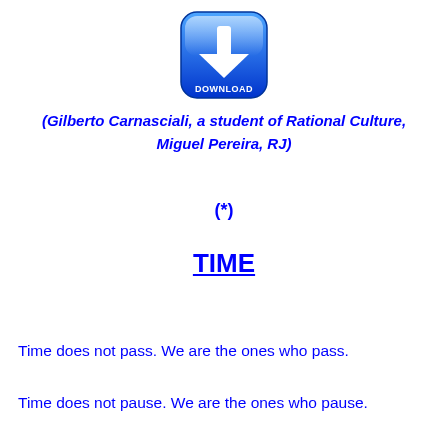[Figure (illustration): Blue rounded square download button icon with a white downward arrow and the word DOWNLOAD in white text at the bottom]
(Gilberto Carnasciali, a student of Rational Culture, Miguel Pereira, RJ)
(*)
TIME
Time does not pass. We are the ones who pass.
Time does not pause. We are the ones who pause.